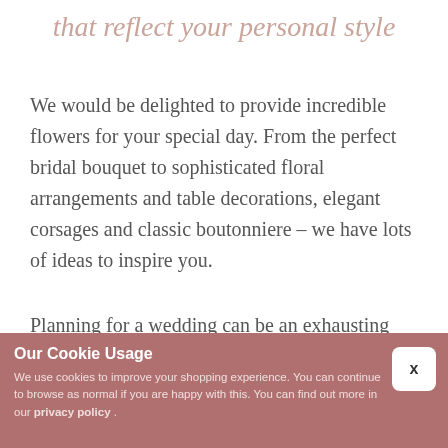that reflect your personal style
We would be delighted to provide incredible flowers for your special day. From the perfect bridal bouquet to sophisticated floral arrangements and table decorations, elegant corsages and classic boutonniere – we have lots of ideas to inspire you.
Planning for a wedding can be an exhausting time. Let Flowers by Arrangement take the stress away
Our Cookie Usage
We use cookies to improve your shopping experience. You can continue to browse as normal if you are happy with this. You can find out more in our privacy policy .